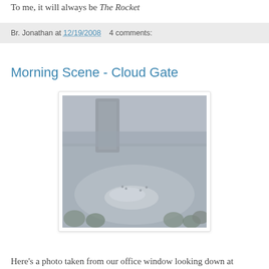To me, it will always be The Rocket
Br. Jonathan at 12/19/2008   4 comments:
Morning Scene - Cloud Gate
[Figure (photo): Aerial grayscale photograph looking down at Cloud Gate sculpture in Millennium Park, Chicago, taken from an office window. The bean-shaped sculpture is visible in the center of the plaza, surrounded by trees and people.]
Here's a photo taken from our office window looking down at